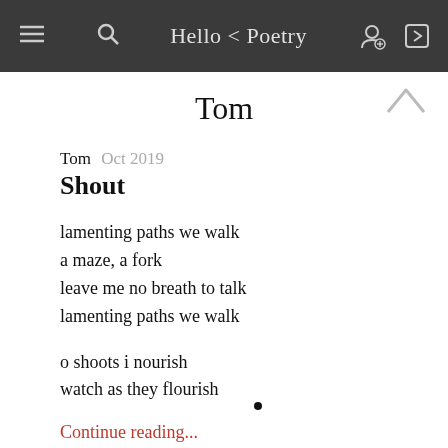Hello < Poetry
Tom
Tom  Oct 2019
Shout
lamenting paths we walk
a maze, a fork
leave me no breath to talk
lamenting paths we walk

o shoots i nourish
watch as they flourish
Continue reading...